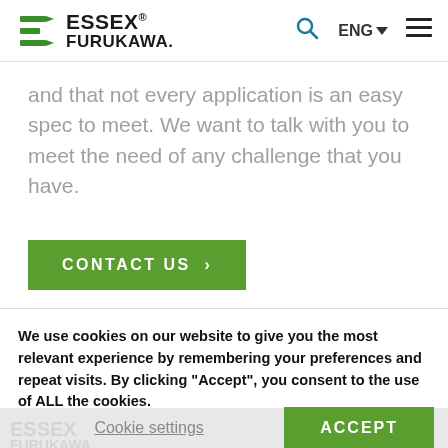[Figure (logo): Essex Furukawa logo with green arrow/fork symbol and bold text]
and that not every application is an easy spec to meet. We want to talk with you to meet the need of any challenge that you have.
CONTACT US >
We use cookies on our website to give you the most relevant experience by remembering your preferences and repeat visits. By clicking “Accept”, you consent to the use of ALL the cookies. In case of sale of your personal information, you may opt out by using the link Do not sell my personal information.
Cookie settings
ACCEPT